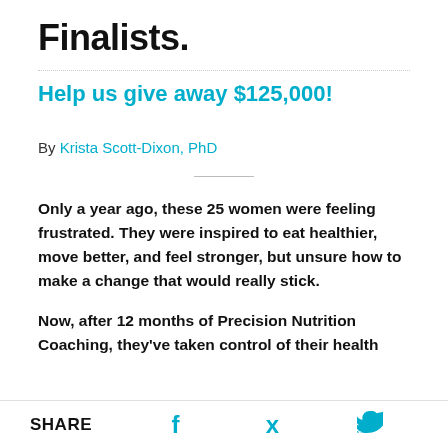Finalists.
Help us give away $125,000!
By Krista Scott-Dixon, PhD
Only a year ago, these 25 women were feeling frustrated. They were inspired to eat healthier, move better, and feel stronger, but unsure how to make a change that would really stick.
Now, after 12 months of Precision Nutrition Coaching, they've taken control of their health
SHARE